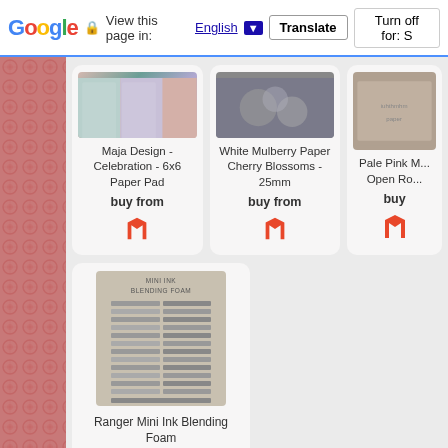[Figure (screenshot): Google Translate bar with Google logo, lock icon, 'View this page in: English [dropdown] Translate | Turn off for: S']
[Figure (photo): Product card: Maja Design - Celebration - 6x6 Paper Pad with buy from Magento icon]
[Figure (photo): Product card: White Mulberry Paper Cherry Blossoms - 25mm with buy from Magento icon]
[Figure (photo): Product card: Pale Pink M... Open Ro... (partially visible) with buy from Magento icon]
[Figure (photo): Product card: Ranger Mini Ink Blending Foam with buy from Magento icon (partially visible at bottom)]